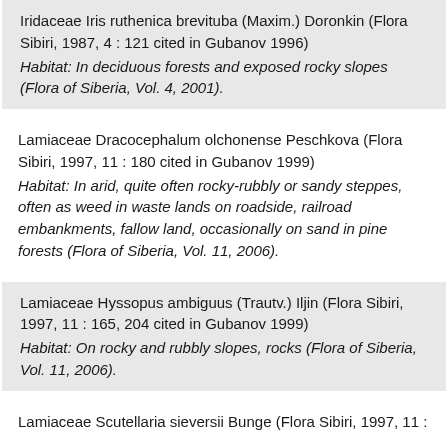Iridaceae Iris ruthenica brevituba (Maxim.) Doronkin (Flora Sibiri, 1987, 4 : 121 cited in Gubanov 1996)
Habitat: In deciduous forests and exposed rocky slopes (Flora of Siberia, Vol. 4, 2001).
Lamiaceae Dracocephalum olchonense Peschkova (Flora Sibiri, 1997, 11 : 180 cited in Gubanov 1999)
Habitat: In arid, quite often rocky-rubbly or sandy steppes, often as weed in waste lands on roadside, railroad embankments, fallow land, occasionally on sand in pine forests (Flora of Siberia, Vol. 11, 2006).
Lamiaceae Hyssopus ambiguus (Trautv.) Iljin (Flora Sibiri, 1997, 11 : 165, 204 cited in Gubanov 1999)
Habitat: On rocky and rubbly slopes, rocks (Flora of Siberia, Vol. 11, 2006).
Lamiaceae Scutellaria sieversii Bunge (Flora Sibiri, 1997, 11 :